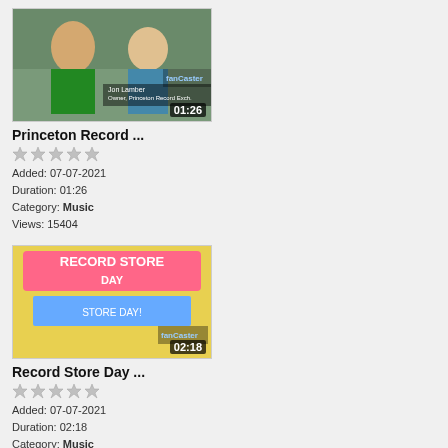[Figure (photo): Video thumbnail: Princeton Record Exchange owner interview, duration 01:26]
Princeton Record ...
★☆☆☆★ (star rating)
Added: 07-07-2021
Duration: 01:26
Category: Music
Views: 15404
[Figure (photo): Video thumbnail: Record Store Day promotional image, duration 02:18]
Record Store Day ...
★☆☆☆★ (star rating)
Added: 07-07-2021
Duration: 02:18
Category: Music
Views: 30413
[Figure (photo): Video thumbnail: The Rej3cts group interview, duration 00:37]
The Rej3cts
★☆☆☆★ (star rating)
Added: 08-29-2020
Duration: 00:37
Category: Music
Views: 4836
[Figure (photo): Video thumbnail: The Black Eyed Peas interview, duration 01:02]
The Black Eyed Pe...
★☆☆☆★ (star rating)
Added: 08-29-2020
Duration: 01:02
Category: Music
Views: 12965